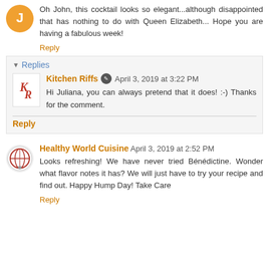Oh John, this cocktail looks so elegant...although disappointed that has nothing to do with Queen Elizabeth... Hope you are having a fabulous week!
Reply
Replies
Kitchen Riffs  April 3, 2019 at 3:22 PM
Hi Juliana, you can always pretend that it does! :-) Thanks for the comment.
Reply
Healthy World Cuisine  April 3, 2019 at 2:52 PM
Looks refreshing! We have never tried Bénédictine. Wonder what flavor notes it has? We will just have to try your recipe and find out. Happy Hump Day! Take Care
Reply